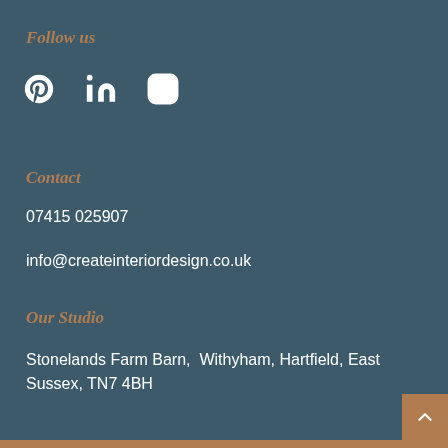Follow us
[Figure (other): Social media icons: Pinterest, LinkedIn, Instagram]
Contact
07415 025907
info@createinteriordesign.co.uk
Our Studio
Stonelands Farm Barn,  Withyham, Hartfield, East Sussex, TN7 4BH